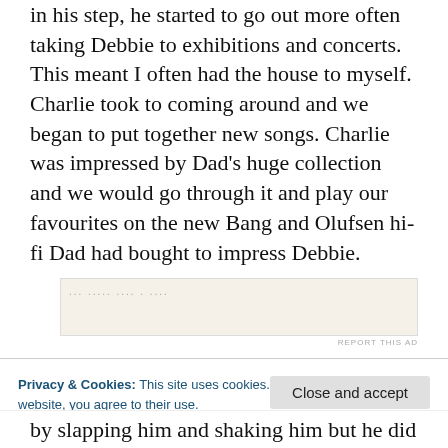in his step, he started to go out more often taking Debbie to exhibitions and concerts. This meant I often had the house to myself. Charlie took to coming around and we began to put together new songs. Charlie was impressed by Dad's huge collection and we would go through it and play our favourites on the new Bang and Olufsen hi-fi Dad had bought to impress Debbie.
[Figure (other): Advertisement banner with beige background and small dots/text, with REPORT THIS AD label]
Privacy & Cookies: This site uses cookies. By continuing to use this website, you agree to their use.
To find out more, including how to control cookies, see here: Cookie Policy
by slapping him and shaking him but he did not